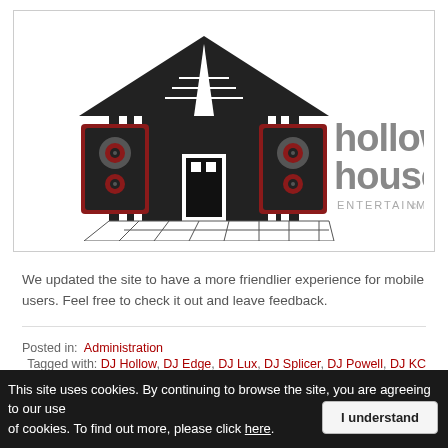[Figure (logo): Hollow House Entertainment logo featuring a house outline with speaker graphics and stylized text reading 'hollow house entertainment']
We updated the site to have a more friendlier experience for mobile users. Feel free to check it out and leave feedback.
Posted in: Administration
Tagged with: DJ Hollow, DJ Edge, DJ Lux, DJ Splicer, DJ Powell, DJ KC
This site uses cookies. By continuing to browse the site, you are agreeing to our use of cookies. To find out more, please click here.